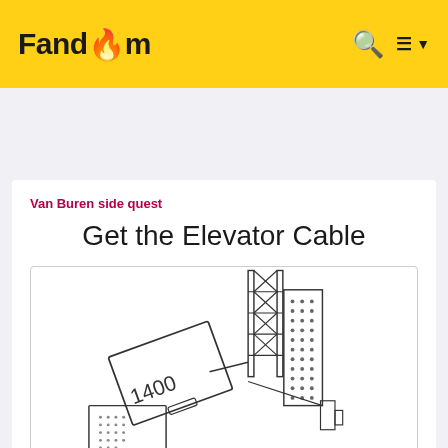Fandom
Van Buren side quest
Get the Elevator Cable
[Figure (engineering-diagram): Line drawing of an elevator cable assembly showing a rectangular box labeled 1400, a perforated panel, and a lattice tower structure above.]